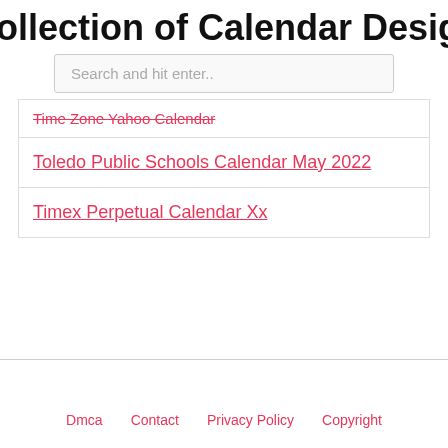ollection of Calendar Design Exampl
Search and hit enter..
Time Zone Yahoo Calendar
Toledo Public Schools Calendar May 2022
Timex Perpetual Calendar Xx
Dmca   Contact   Privacy Policy   Copyright